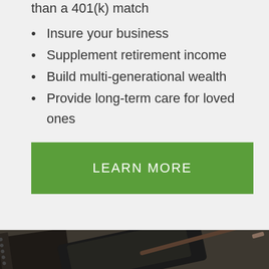than a 401(k) match
Insure your business
Supplement retirement income
Build multi-generational wealth
Provide long-term care for loved ones
LEARN MORE
[Figure (photo): Dark desktop scene with notebook, phone/tablet, and pens on a surface — top half in color, bottom half in grayscale. A blue rounded-square email button is in the bottom-right corner.]